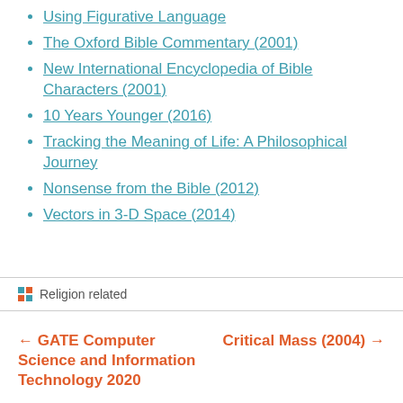Using Figurative Language
The Oxford Bible Commentary (2001)
New International Encyclopedia of Bible Characters (2001)
10 Years Younger (2016)
Tracking the Meaning of Life: A Philosophical Journey
Nonsense from the Bible (2012)
Vectors in 3-D Space (2014)
Religion related
← GATE Computer Science and Information Technology 2020
Critical Mass (2004) →